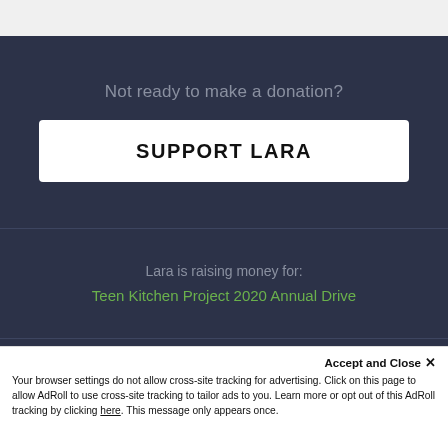Not ready to make a donation?
SUPPORT LARA
Lara is raising money for:
Teen Kitchen Project 2020 Annual Drive
Looking to raise money for something?
Start A Free Campaign
Accept and Close ✕
Your browser settings do not allow cross-site tracking for advertising. Click on this page to allow AdRoll to use cross-site tracking to tailor ads to you. Learn more or opt out of this AdRoll tracking by clicking here. This message only appears once.